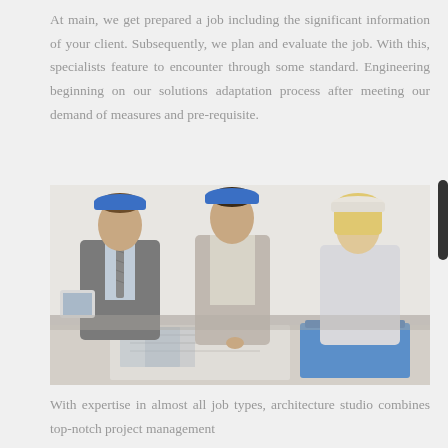At main, we get prepared a job including the significant information of your client. Subsequently, we plan and evaluate the job. With this, specialists feature to encounter through some standard. Engineering beginning on our solutions adaptation process after meeting our demand of measures and pre-requisite.
[Figure (photo): Three professionals in hard hats reviewing blueprints/plans on a table. Two men in suits and a woman leaning over a desk with construction drawings and a blue folder.]
With expertise in almost all job types, architecture studio combines top-notch project management